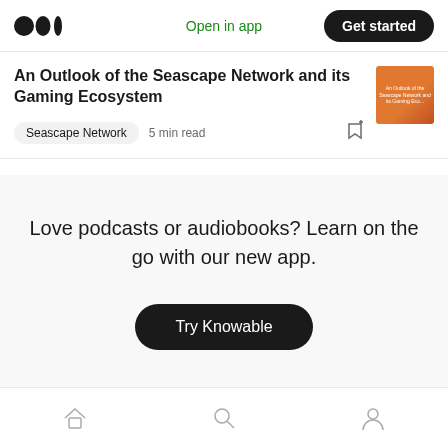Open in app | Get started
An Outlook of the Seascape Network and its Gaming Ecosystem
Seascape Network · 5 min read
Love podcasts or audiobooks? Learn on the go with our new app.
Try Knowable
Home | Search | Profile